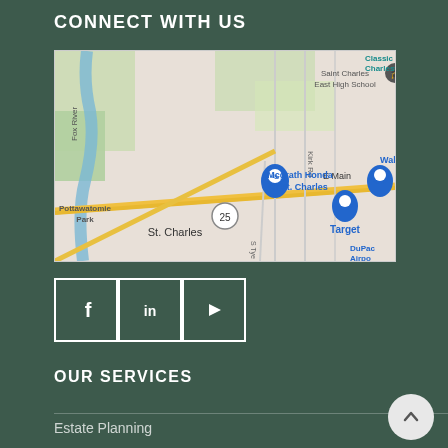CONNECT WITH US
[Figure (map): Google Maps view showing St. Charles area with landmarks including Saint Charles East High School, Mcgrath Honda Of St. Charles, Classic Cinemas Charlestowne 18, Target, Walmart, DuPage Airport, Fox River, Pottawatomie Park, and roads including Kirk Rd and route 25.]
[Figure (infographic): Three social media icon buttons in outlined square boxes: Facebook (f), LinkedIn (in), and YouTube (play button icon)]
OUR SERVICES
Estate Planning
Long-Term Planning